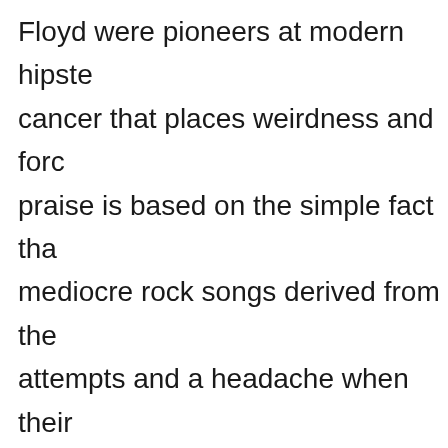Floyd were pioneers at modern hipste cancer that places weirdness and forc praise is based on the simple fact tha mediocre rock songs derived from the attempts and a headache when their laudable moments are displayed in la narrative on melody lines, include jus telling function that reigns in and max experimentalism.
A brief rundown of each of Pink Floyd separating the little good from the lar